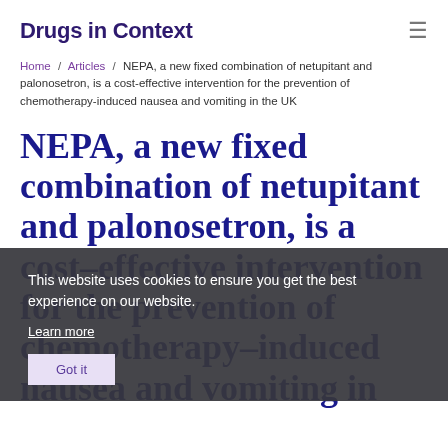Drugs in Context
Home / Articles / NEPA, a new fixed combination of netupitant and palonosetron, is a cost-effective intervention for the prevention of chemotherapy-induced nausea and vomiting in the UK
NEPA, a new fixed combination of netupitant and palonosetron, is a cost-effective intervention for the prevention of chemotherapy-induced nausea and vomiting in
This website uses cookies to ensure you get the best experience on our website. Learn more Got it